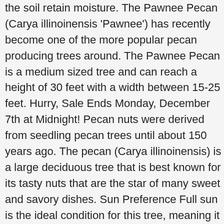the soil retain moisture. The Pawnee Pecan (Carya illinoinensis 'Pawnee') has recently become one of the more popular pecan producing trees around. The Pawnee Pecan is a medium sized tree and can reach a height of 30 feet with a width between 15-25 feet. Hurry, Sale Ends Monday, December 7th at Midnight! Pecan nuts were derived from seedling pecan trees until about 150 years ago. The pecan (Carya illinoinensis) is a large deciduous tree that is best known for its tasty nuts that are the star of many sweet and savory dishes. Sun Preference Full sun is the ideal condition for this tree, meaning it should get at least six hours of direct, unfiltered sunlight each day. This particular pecan is a cross between the “Mohawk” and the “Starking Hardy Giant” nut trees. The pecans are also noted for their thin shell that makes them easy to crack and eat. Early nut production is directly related to the amount of pruning; trees subjected to less pruning will produce earlier than more heavily pruned trees. pecan tree growth on a daily basis. As the largest trees in the hickory family, pecan trees regularly reach 70 to 100 feet tall with canopy spreads